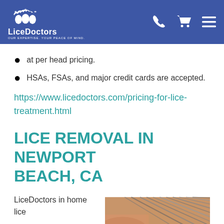LiceDoctors — Our Expertise. Your Peace of Mind.
at per head pricing.
HSAs, FSAs, and major credit cards are accepted.
https://www.licedoctors.com/pricing-for-lice-treatment.html
LICE REMOVAL IN NEWPORT BEACH, CA
LiceDoctors in home lice
[Figure (photo): Close-up photo showing hair strands being examined, with a hand visible, used in context of lice treatment service.]